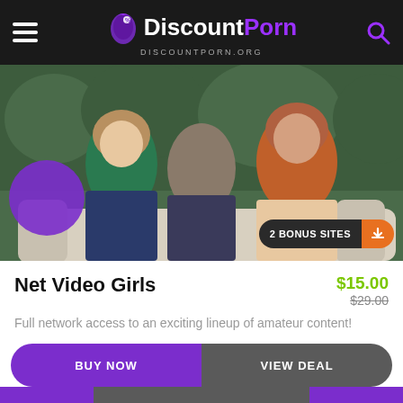DiscountPorn DISCOUNTPORN.ORG
[Figure (photo): Three women sitting on a white couch outdoors in front of green hedge, wearing casual clothes]
2 BONUS SITES
Net Video Girls
$15.00 $29.00
Full network access to an exciting lineup of amateur content!
BUY NOW
VIEW DEAL
VIEW DEAL!